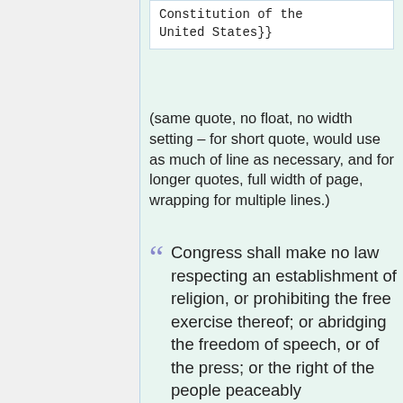Constitution of the United States}}
(same quote, no float, no width setting – for short quote, would use as much of line as necessary, and for longer quotes, full width of page, wrapping for multiple lines.)
Congress shall make no law respecting an establishment of religion, or prohibiting the free exercise thereof; or abridging the freedom of speech, or of the press; or the right of the people peaceably